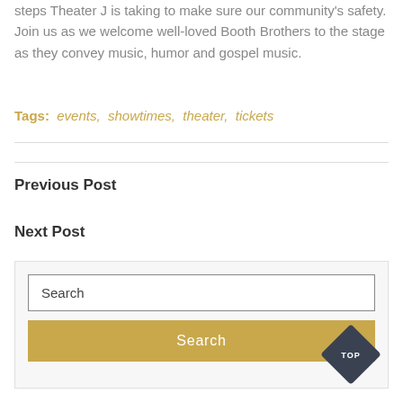steps Theater J is taking to make sure our community's safety. Join us as we welcome well-loved Booth Brothers to the stage as they convey music, humor and gospel music.
Tags: events, showtimes, theater, tickets
Previous Post
Next Post